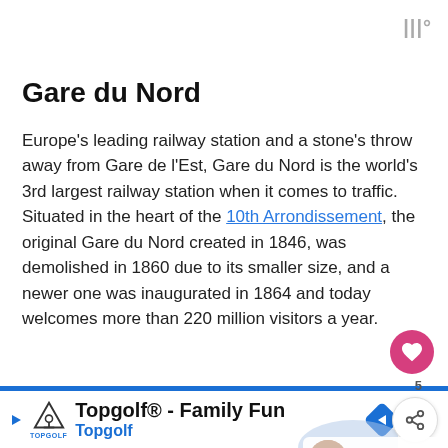|||°
Gare du Nord
Europe's leading railway station and a stone's throw away from Gare de l'Est, Gare du Nord is the world's 3rd largest railway station when it comes to traffic. Situated in the heart of the 10th Arrondissement, the original Gare du Nord created in 1846, was demolished in 1860 due to its smaller size, and a newer one was inaugurated in 1864 and today welcomes more than 220 million visitors a year.
WHAT'S NEXT → Carousels in Paris
Topgolf® - Family Fun Topgolf